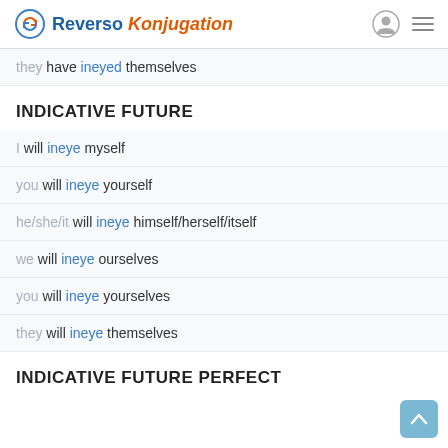Reverso Konjugation
they have ineyed themselves
INDICATIVE FUTURE
I will ineye myself
you will ineye yourself
he/she/it will ineye himself/herself/itself
we will ineye ourselves
you will ineye yourselves
they will ineye themselves
INDICATIVE FUTURE PERFECT